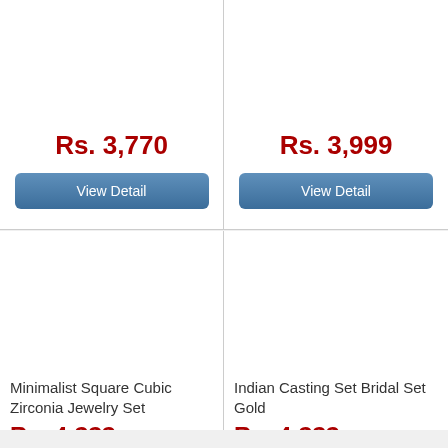Rs. 3,770
View Detail
Rs. 3,999
View Detail
[Figure (photo): Product image placeholder (white area) for Minimalist Square Cubic Zirconia Jewelry Set]
Minimalist Square Cubic Zirconia Jewelry Set
Rs. 4,???
[Figure (photo): Product image placeholder (white area) for Indian Casting Set Bridal Set Gold]
Indian Casting Set Bridal Set Gold
Rs. 4,???